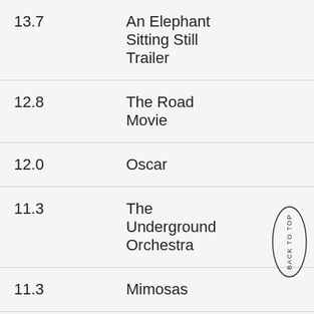| Score | Title |
| --- | --- |
| 13.7 | An Elephant Sitting Still Trailer |
| 12.8 | The Road Movie |
| 12.0 | Oscar |
| 11.3 | The Underground Orchestra |
| 11.3 | Mimosas |
| 11.3 | King of the Hill |
| 10.7 | Vito |
| 10.5 | Dreams from |